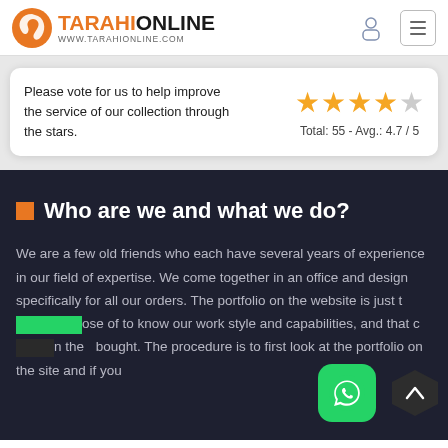TARAHIONLINE WWW.TARAHIONLINE.COM
Please vote for us to help improve the service of our collection through the stars. Total: 55 - Avg.: 4.7 / 5
Who are we and what we do?
We are a few old friends who each have several years of experience in our field of expertise. We come together in an office and design specifically for all our orders. The portfolio on the website is just those of to know our work style and capabilities, and that on they bought. The procedure is to first look at the portfolio on the site and if you